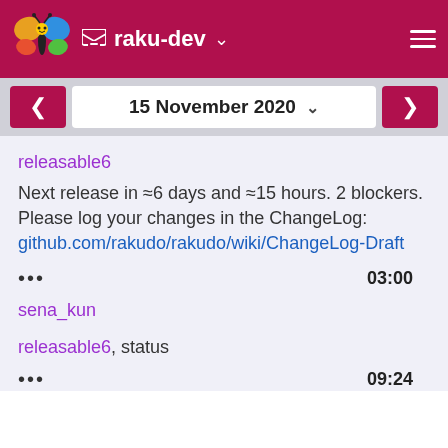raku-dev
15 November 2020
releasable6
Next release in ≈6 days and ≈15 hours. 2 blockers. Please log your changes in the ChangeLog: github.com/rakudo/rakudo/wiki/ChangeLog-Draft
••• 03:00
sena_kun
releasable6, status
••• 09:24